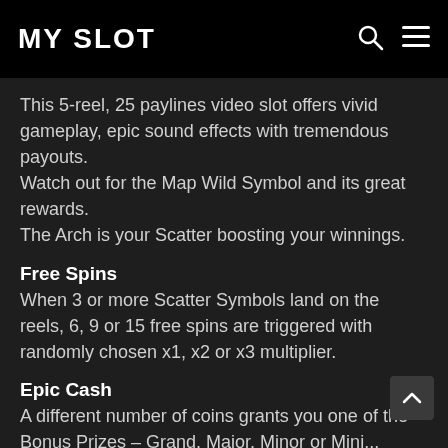MY SLOT
This 5-reel, 25 paylines video slot offers vivid gameplay, epic sound effects with tremendous payouts.
Watch out for the Map Wild Symbol and its great rewards.
The Arch is your Scatter boosting your winnings.
Free Spins
When 3 or more Scatter Symbols land on the reels, 6, 9 or 15 free spins are triggered with randomly chosen x1, x2 or x3 multiplier.
Epic Cash
A different number of coins grants you one of the Bonus Prizes – Grand, Major, Minor or Mini...